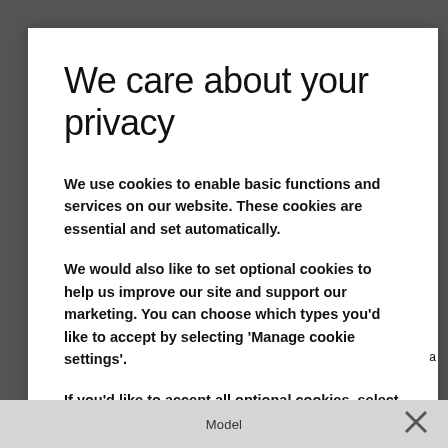We care about your privacy
We use cookies to enable basic functions and services on our website. These cookies are essential and set automatically.
We would also like to set optional cookies to help us improve our site and support our marketing. You can choose which types you'd like to accept by selecting 'Manage cookie settings'.
If you'd like to accept all optional cookies, select